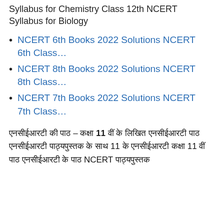Syllabus for Chemistry Class 12th NCERT Syllabus for Biology
NCERT 6th Books 2022 Solutions NCERT 6th Class…
NCERT 8th Books 2022 Solutions NCERT 8th Class…
NCERT 7th Books 2022 Solutions NCERT 7th Class…
एनसीईआरटी की पाठ – कक्षा 11 वीं के लिखित एनसीईआरटी पाठ एनसीईआरटी पाठ्यपुस्तक के साथ 11 के एनसीईआरटी कक्षा 11 वीं पाठ एनसीईआरटी के पाठ NCERT पाठ्यपुस्तक